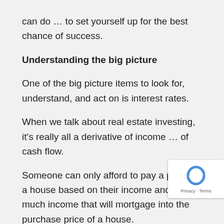can do … to set yourself up for the best chance of success.
Understanding the big picture
One of the big picture items to look for, understand, and act on is interest rates.
When we talk about real estate investing, it's really all a derivative of income … of cash flow.
Someone can only afford to pay a price for a house based on their income and how much income that will mortgage into the purchase price of a house.
If you take a look at the major inputs going into a
[Figure (logo): reCAPTCHA badge with Privacy and Terms links]